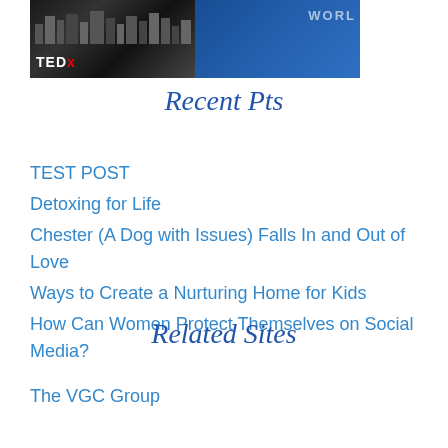[Figure (photo): Photo collage showing a TEDx event on the left side with city skyline silhouette in dark tones and red TEDx logo, and a blue background on the right with partial 'WORLD' text]
Recent Pts
TEST POST
Detoxing for Life
Chester (A Dog with Issues) Falls In and Out of Love
Ways to Create a Nurturing Home for Kids
How Can Women Protect Themselves on Social Media?
Related Sites
The VGC Group